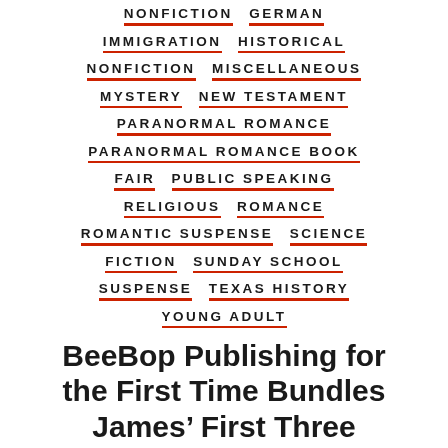NONFICTION
GERMAN
IMMIGRATION
HISTORICAL
NONFICTION
MISCELLANEOUS
MYSTERY
NEW TESTAMENT
PARANORMAL ROMANCE
PARANORMAL ROMANCE BOOK
FAIR
PUBLIC SPEAKING
RELIGIOUS
ROMANCE
ROMANTIC SUSPENSE
SCIENCE
FICTION
SUNDAY SCHOOL
SUSPENSE
TEXAS HISTORY
YOUNG ADULT
BeeBop Publishing for the First Time Bundles James’ First Three